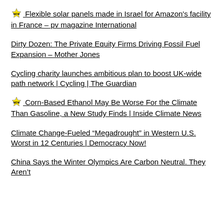🆕 Flexible solar panels made in Israel for Amazon's facility in France – pv magazine International
Dirty Dozen: The Private Equity Firms Driving Fossil Fuel Expansion – Mother Jones
Cycling charity launches ambitious plan to boost UK-wide path network | Cycling | The Guardian
🆕 Corn-Based Ethanol May Be Worse For the Climate Than Gasoline, a New Study Finds | Inside Climate News
Climate Change-Fueled "Megadrought" in Western U.S. Worst in 12 Centuries | Democracy Now!
China Says the Winter Olympics Are Carbon Neutral. They Aren't